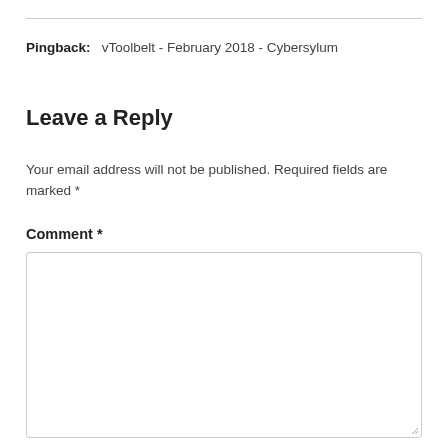Pingback: vToolbelt - February 2018 - Cybersylum
Leave a Reply
Your email address will not be published. Required fields are marked *
Comment *